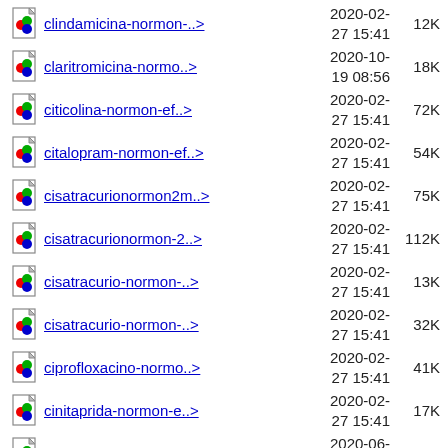clindamicina-normon-..> 2020-02-27 15:41 12K
claritromicina-normo..> 2020-10-19 08:56 18K
citicolina-normon-ef..> 2020-02-27 15:41 72K
citalopram-normon-ef..> 2020-02-27 15:41 54K
cisatracurionormon2m..> 2020-02-27 15:41 75K
cisatracurionormon-2..> 2020-02-27 15:41 112K
cisatracurio-normon-..> 2020-02-27 15:41 13K
cisatracurio-normon-..> 2020-02-27 15:41 32K
ciprofloxacino-normo..> 2020-02-27 15:41 41K
cinitaprida-normon-e..> 2020-02-27 15:41 17K
cinacalcet.jpg 2020-06-23 12:23 33K
cilostazol-normon-ef..> 2020-02- 77K